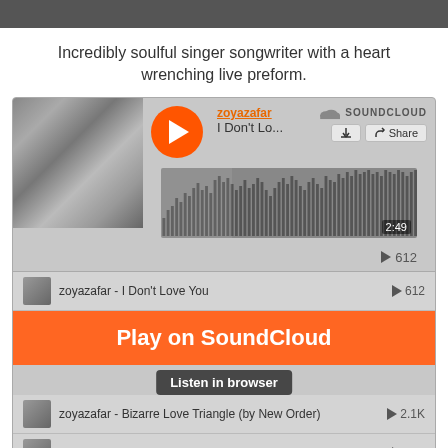Incredibly soulful singer songwriter with a heart wrenching live preform.
[Figure (screenshot): SoundCloud embedded player widget showing zoyazafar - I Don't Love You with waveform, play button, album art of a bed, duration 2:49, play count 612, with track list including Bizarre Love Triangle (by New Order) with 2.1K plays and You're A Good Reason Why with 947 plays. Orange 'Play on SoundCloud' button with 'Listen in browser' tooltip overlaid.]